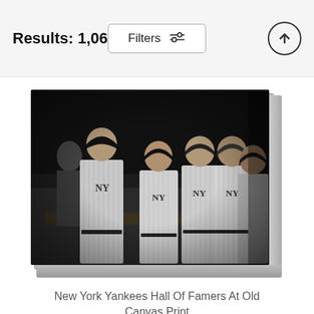Results: 1,062
Filters
[Figure (photo): Black and white photograph of five New York Yankees baseball players in pinstripe uniforms seated in a dugout, displayed as a canvas print with visible depth/sides.]
New York Yankees Hall Of Famers At Old Canvas Print